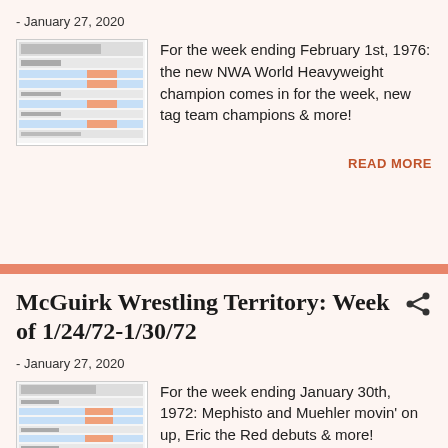- January 27, 2020
[Figure (screenshot): Thumbnail image of a wrestling territory weekly scorecard/table with blue and orange highlighted rows]
For the week ending February 1st, 1976: the new NWA World Heavyweight champion comes in for the week, new tag team champions & more!
READ MORE
McGuirk Wrestling Territory: Week of 1/24/72-1/30/72
- January 27, 2020
[Figure (screenshot): Thumbnail image of a wrestling territory weekly scorecard/table with blue and orange highlighted rows]
For the week ending January 30th, 1972: Mephisto and Muehler movin' on up, Eric the Red debuts & more!